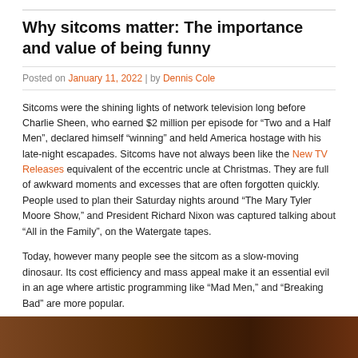Why sitcoms matter: The importance and value of being funny
Posted on January 11, 2022 | by Dennis Cole
Sitcoms were the shining lights of network television long before Charlie Sheen, who earned $2 million per episode for “Two and a Half Men”, declared himself “winning” and held America hostage with his late-night escapades. Sitcoms have not always been like the New TV Releases equivalent of the eccentric uncle at Christmas. They are full of awkward moments and excesses that are often forgotten quickly. People used to plan their Saturday nights around “The Mary Tyler Moore Show,” and President Richard Nixon was captured talking about “All in the Family”, on the Watergate tapes.
Today, however many people see the sitcom as a slow-moving dinosaur. Its cost efficiency and mass appeal make it an essential evil in an age where artistic programming like “Mad Men,” and “Breaking Bad” are more popular.
There is still something to be said about the sitcom’s enduring appeal, which allows it to attract an audience were other genres, such as the western or soap opera, don’t.
[Figure (photo): A dark brownish/amber colored image, likely a still from a sitcom or TV show, cropped at the bottom of the page.]